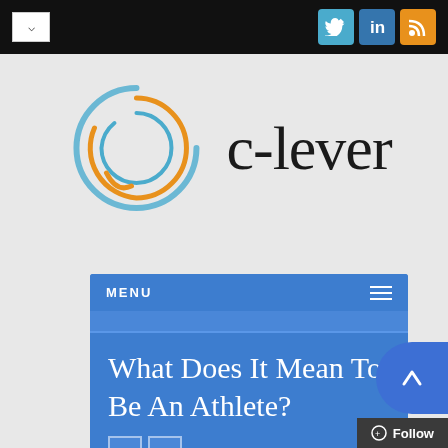[Figure (screenshot): Black top navigation bar with dropdown button and social media icons (Twitter, LinkedIn, RSS)]
[Figure (logo): C-lever logo with circular swirl design in blue and orange, with text 'c-lever' in large serif font]
[Figure (screenshot): Blue menu bar with MENU label and hamburger icon, followed by article title 'What Does It Mean To Be An Athlete?' with navigation arrows]
What Does It Mean To Be An Athlete?